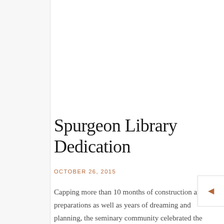Spurgeon Library Dedication
OCTOBER 26, 2015
Capping more than 10 months of construction and preparations as well as years of dreaming and planning, the seminary community celebrated the dedication of the Spurgeon Library with a ribbon cutting and official naming ceremony on Oct. 20, 2015. Accompanied by